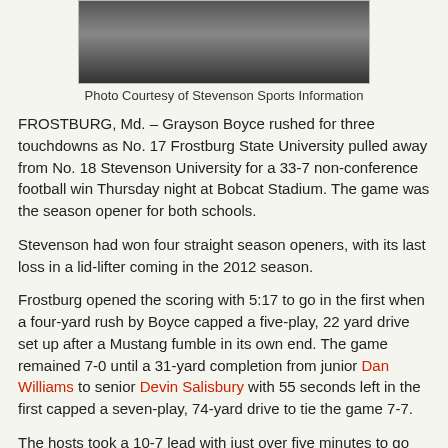[Figure (photo): A football player in action, partial view cropped at top of page]
Photo Courtesy of Stevenson Sports Information
FROSTBURG, Md. – Grayson Boyce rushed for three touchdowns as No. 17 Frostburg State University pulled away from No. 18 Stevenson University for a 33-7 non-conference football win Thursday night at Bobcat Stadium. The game was the season opener for both schools.
Stevenson had won four straight season openers, with its last loss in a lid-lifter coming in the 2012 season.
Frostburg opened the scoring with 5:17 to go in the first when a four-yard rush by Boyce capped a five-play, 22 yard drive set up after a Mustang fumble in its own end. The game remained 7-0 until a 31-yard completion from junior Dan Williams to senior Devin Salisbury with 55 seconds left in the first capped a seven-play, 74-yard drive to tie the game 7-7.
The hosts took a 10-7 lead with just over five minutes to go